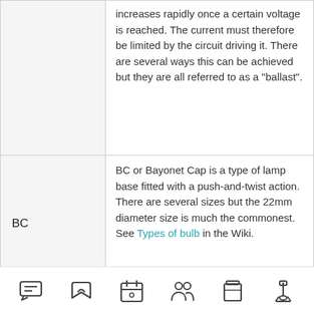| Term | Definition |
| --- | --- |
|  | increases rapidly once a certain voltage is reached. The current must therefore be limited by the circuit driving it. There are several ways this can be achieved but they are all referred to as a "ballast". |
| BC | BC or Bayonet Cap is a type of lamp base fitted with a push-and-twist action. There are several sizes but the 22mm diameter size is much the commonest. See Types of bulb in the Wiki. |
[Figure (infographic): Navigation footer bar with six icons: message/chat, bookmark/label, calendar, people/users, storage/jar, microscope]